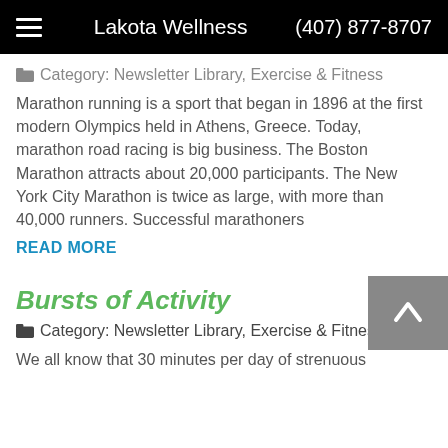Lakota Wellness (407) 877-8707
Category: Newsletter Library, Exercise & Fitness
Marathon running is a sport that began in 1896 at the first modern Olympics held in Athens, Greece. Today, marathon road racing is big business. The Boston Marathon attracts about 20,000 participants. The New York City Marathon is twice as large, with more than 40,000 runners. Successful marathoners
READ MORE
Bursts of Activity
Category: Newsletter Library, Exercise & Fitness
We all know that 30 minutes per day of strenuous